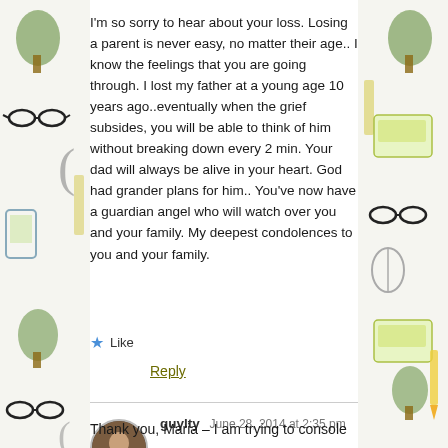I'm so sorry to hear about your loss. Losing a parent is never easy, no matter their age.. I know the feelings that you are going through. I lost my father at a young age 10 years ago..eventually when the grief subsides, you will be able to think of him without breaking down every 2 min. Your dad will always be alive in your heart. God had grander plans for him.. You've now have a guardian angel who will watch over you and your family. My deepest condolences to you and your family.
★ Like
Reply
guylty  June 28, 2014 at 2:35 pm
Thank you, Maria – I am trying to console